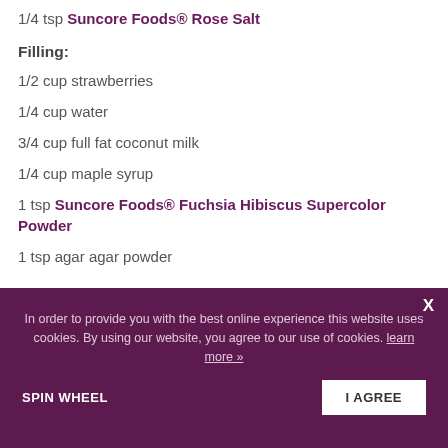1/4 tsp Suncore Foods® Rose Salt
Filling:
1/2 cup strawberries
1/4 cup water
3/4 cup full fat coconut milk
1/4 cup maple syrup
1 tsp Suncore Foods® Fuchsia Hibiscus Supercolor Powder
1 tsp agar agar powder
In order to provide you with the best online experience this website uses cookies. By using our website, you agree to our use of cookies. learn more »
I AGREE
SPIN WHEEL